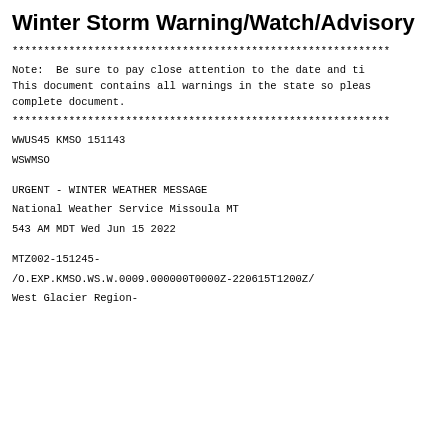Winter Storm Warning/Watch/Advisory
************************************************************
Note:  Be sure to pay close attention to the date and ti
This document contains all warnings in the state so plea
complete document.
************************************************************
WWUS45 KMSO 151143
WSWMSO
URGENT - WINTER WEATHER MESSAGE
National Weather Service Missoula MT
543 AM MDT Wed Jun 15 2022
MTZ002-151245-
/O.EXP.KMSO.WS.W.0009.000000T0000Z-220615T1200Z/
West Glacier Region-